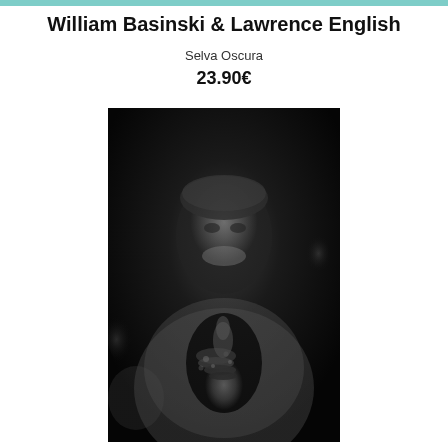William Basinski & Lawrence English
Selva Oscura
23.90€
[Figure (photo): Black and white portrait photograph of a smiling person wearing a patterned hat and light jacket, holding beaded jewelry or accessories toward the camera with one hand raised, with a blurred dark background.]